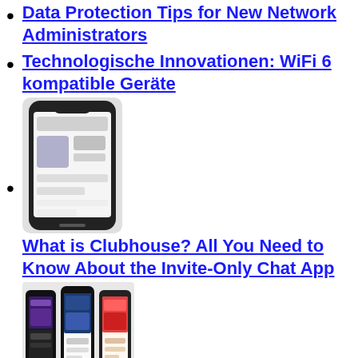Data Protection Tips for New Network Administrators
Technologische Innovationen: WiFi 6 kompatible Geräte
[Figure (photo): A single smartphone showing a social media or app screen, viewed from the front, on a light background.]
What is Clubhouse? All You Need to Know About the Invite-Only Chat App
[Figure (photo): Three smartphones side by side showing different app screens including what appears to be music or podcast apps.]
Apple and Spotify could spell the end of everything we love about podcasts
Oxygen leak kills 22 in Indian hospital as